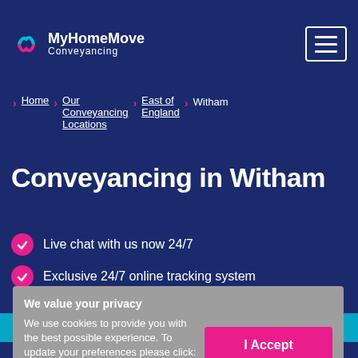MyHomeMove Conveyancing
Home > Our Conveyancing Locations > East of England > Witham
Conveyancing in Witham
Live chat with us now 24/7
Exclusive 24/7 online tracking system
We value your privacy
We use cookies to provide you with the best possible experience. To update your preferences please click:
Cookie settings
I Accept
Excellent